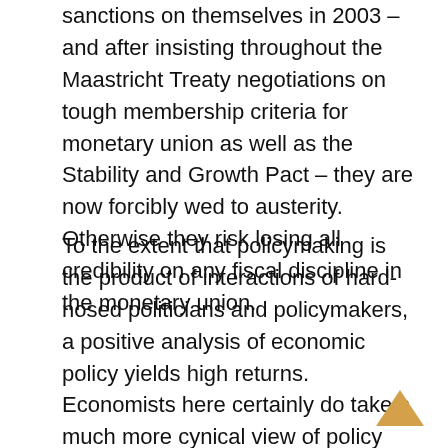sanctions on themselves in 2003 – and after insisting throughout the Maastricht Treaty negotiations on tough membership criteria for monetary union as well as the Stability and Growth Pact – they are now forcibly wed to austerity. Otherwise they risk losing all credibility on any fiscal discipline in the monetary union.
To the extent that policymaking is the product of interactions of hard-nosed politicians and policymakers, a positive analysis of economic policy yields high returns. Economists here certainly do take a much more cynical view of policy and political economy. When I arrived in Berlin in the early 1990s, the discussion surrounding the European Monetary Union project was uniformly skeptical. The suspicion was that politicians do what they please in response to short-term political